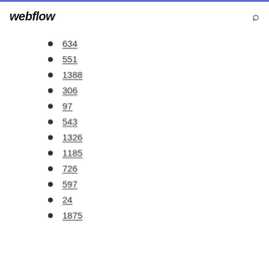webflow
634
551
1388
306
97
543
1326
1185
726
597
24
1875